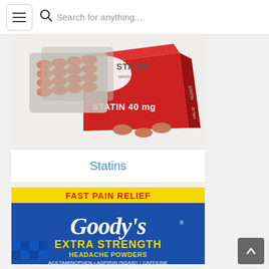[Figure (screenshot): Mobile app navigation bar with hamburger menu, search icon, and search placeholder text 'Search for anything...']
[Figure (photo): Statin 40mg medication box (red) with blister packs of oval peach-colored tablets on a white background]
Statins
[Figure (photo): Goody's Extra Strength Headache Powders box - blue and yellow packaging with red text 'Fast Pain Relief', 'Extra Strength', 'Headache Powders', 'Acetaminophen + Aspirin (NSAID) / Caffeine']
[Figure (screenshot): Scroll-to-top button (dark grey rounded square with upward arrow) in bottom-right corner]